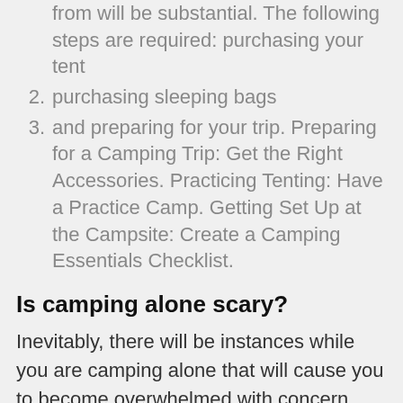from will be substantial. The following steps are required: purchasing your tent
2. purchasing sleeping bags
3. and preparing for your trip. Preparing for a Camping Trip: Get the Right Accessories. Practicing Tenting: Have a Practice Camp. Getting Set Up at the Campsite: Create a Camping Essentials Checklist.
Is camping alone scary?
Inevitably, there will be instances while you are camping alone that will cause you to become overwhelmed with concern